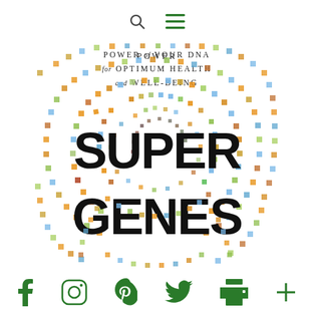Search and Menu icons
[Figure (illustration): Book cover of 'Super Genes' showing colorful circular dot pattern made of small colored squares arranged in concentric arcs, with the title SUPER GENES in large bold black letters overlaid, and subtitle text 'POWER OF YOUR DNA for OPTIMUM HEALTH and WELL-BEING' at top]
Social media icons: Facebook, Instagram, Pinterest, Twitter, Print, Add